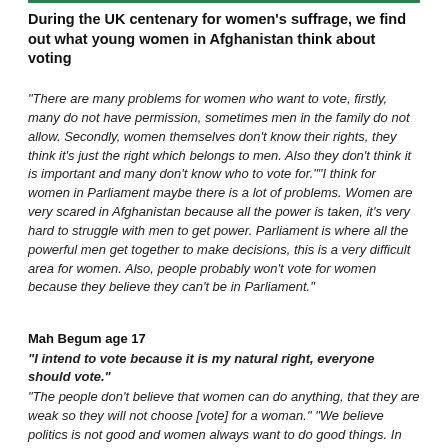During the UK centenary for women's suffrage, we find out what young women in Afghanistan think about voting
“There are many problems for women who want to vote, firstly, many do not have permission, sometimes men in the family do not allow. Secondly, women themselves don’t know their rights, they think it’s just the right which belongs to men. Also they don’t think it is important and many don’t know who to vote for.”“I think for women in Parliament maybe there is a lot of problems. Women are very scared in Afghanistan because all the power is taken, it’s very hard to struggle with men to get power. Parliament is where all the powerful men get together to make decisions, this is a very difficult area for women. Also, people probably won’t vote for women because they believe they can’t be in Parliament.”
Mah Begum age 17
“I intend to vote because it is my natural right, everyone should vote.”
“The people don’t believe that women can do anything, that they are weak so they will not choose [vote] for a woman.” “We believe politics is not good and women always want to do good things. In Afghanistan the politics is not good, women want to do kind and good things, to bring